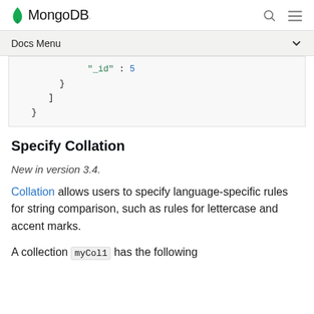MongoDB
Docs Menu
[Figure (screenshot): Code block showing JSON snippet: "_id" : 5, closing braces } ] }]
Specify Collation
New in version 3.4.
Collation allows users to specify language-specific rules for string comparison, such as rules for lettercase and accent marks.
A collection myCol1 has the following